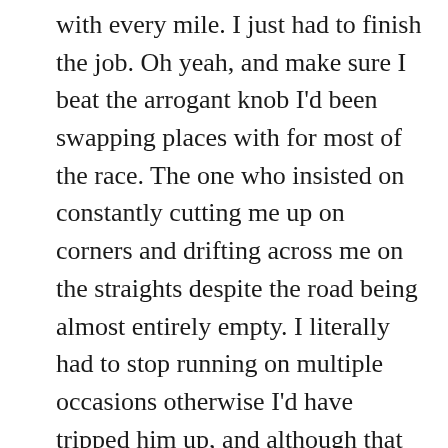with every mile. I just had to finish the job. Oh yeah, and make sure I beat the arrogant knob I'd been swapping places with for most of the race. The one who insisted on constantly cutting me up on corners and drifting across me on the straights despite the road being almost entirely empty. I literally had to stop running on multiple occasions otherwise I'd have tripped him up, and although that would have been the easy way out I simply vowed to make sure I beat him across the line fair and square.
In the end I did exactly that, but I have no idea of the magnitude of my pointless little personal victory. I overtook him on the little downslope in the penultimate mile, so near his...